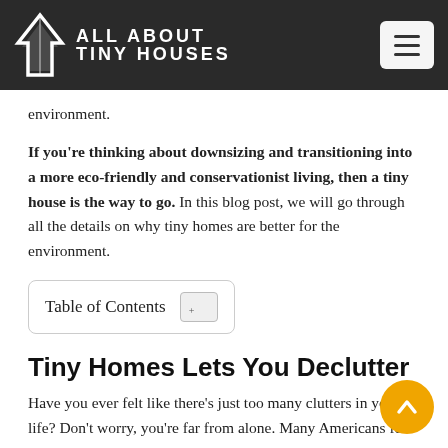ALL ABOUT TINY HOUSES
environment.
If you're thinking about downsizing and transitioning into a more eco-friendly and conservationist living, then a tiny house is the way to go. In this blog post, we will go through all the details on why tiny homes are better for the environment.
Table of Contents
Tiny Homes Lets You Declutter
Have you ever felt like there's just too many clutters in your life? Don't worry, you're far from alone. Many Americans felt the same way. Their solution?